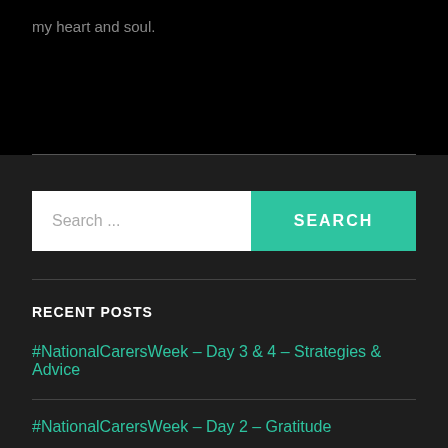my heart and soul.
Search ...
SEARCH
RECENT POSTS
#NationalCarersWeek – Day 3 & 4 – Strategies & Advice
#NationalCarersWeek – Day 2 – Gratitude